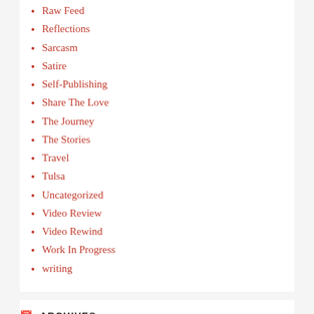Raw Feed
Reflections
Sarcasm
Satire
Self-Publishing
Share The Love
The Journey
The Stories
Travel
Tulsa
Uncategorized
Video Review
Video Rewind
Work In Progress
writing
ARCHIVES
September 2022
August 2022
July 2022